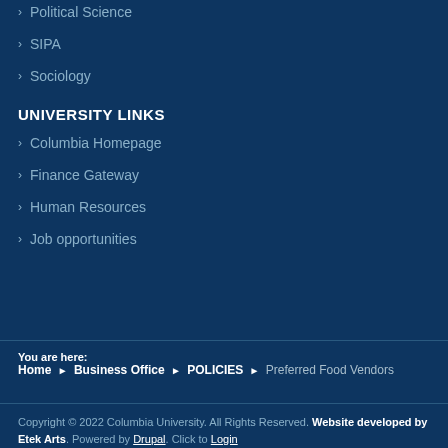Political Science
SIPA
Sociology
UNIVERSITY LINKS
Columbia Homepage
Finance Gateway
Human Resources
Job opportunities
You are here: Home › Business Office › POLICIES › Preferred Food Vendors
Copyright © 2022 Columbia University. All Rights Reserved. Website developed by Etek Arts. Powered by Drupal. Click to Login